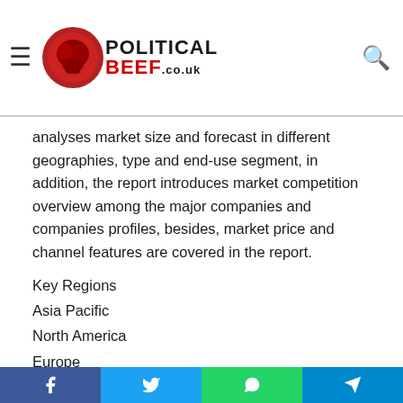Political Beef .co.uk — navigation bar with logo, hamburger menu, and search icon
factors, demand, background growth and the description of market... overview of industrial chain structure and describes the upstream. Besides, the report
analyses market size and forecast in different geographies, type and end-use segment, in addition, the report introduces market competition overview among the major companies and companies profiles, besides, market price and channel features are covered in the report.
Key Regions
Asia Pacific
North America
Europe
South America
Middle East and Africa
Key Companies
GE WATER and PROCESS TECHNOLOGIES
Social share bar: Facebook, Twitter, WhatsApp, Telegram